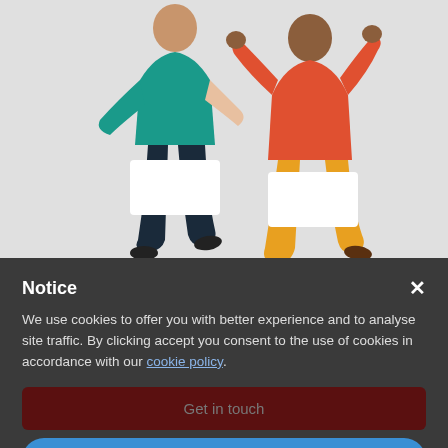[Figure (illustration): Two people sitting and having a conversation — one in teal/dark outfit on the left, one in orange/red outfit with yellow pants on the right, both seated on white blocks against a light grey background.]
Notice
We use cookies to offer you with better experience and to analyse site traffic. By clicking accept you consent to the use of cookies in accordance with our cookie policy.
Get in touch
How the PRIDDY toolkit can help
Reject
Accept
Learn more and customize